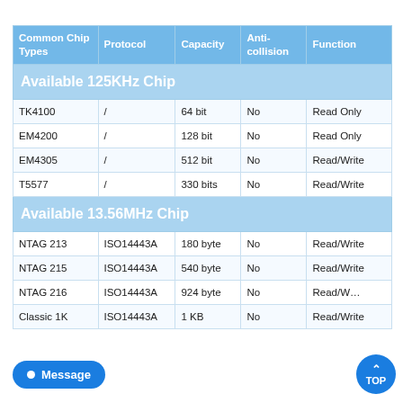| Common Chip Types | Protocol | Capacity | Anti-collision | Function |
| --- | --- | --- | --- | --- |
| Available 125KHz Chip |  |  |  |  |
| TK4100 | / | 64 bit | No | Read Only |
| EM4200 | / | 128 bit | No | Read Only |
| EM4305 | / | 512 bit | No | Read/Write |
| T5577 | / | 330 bits | No | Read/Write |
| Available 13.56MHz Chip |  |  |  |  |
| NTAG 213 | ISO14443A | 180 byte | No | Read/Write |
| NTAG 215 | ISO14443A | 540 byte | No | Read/Write |
| NTAG 216 | ISO14443A | 924 byte | No | Read/Write |
| Classic 1K | ISO14443A | 1 KB | No | Read/Write |